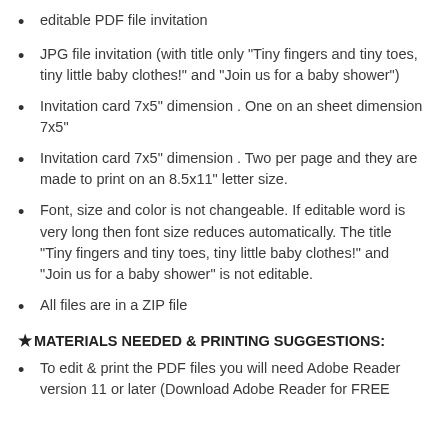editable PDF file invitation
JPG file invitation (with title only "Tiny fingers and tiny toes, tiny little baby clothes!" and "Join us for a baby shower")
Invitation card 7x5" dimension . One on an sheet dimension 7x5"
Invitation card 7x5" dimension . Two per page and they are made to print on an 8.5x11" letter size.
Font, size and color is not changeable. If editable word is very long then font size reduces automatically. The title "Tiny fingers and tiny toes, tiny little baby clothes!" and "Join us for a baby shower" is not editable.
All files are in a ZIP file
★MATERIALS NEEDED & PRINTING SUGGESTIONS:
To edit & print the PDF files you will need Adobe Reader version 11 or later (Download Adobe Reader for FREE